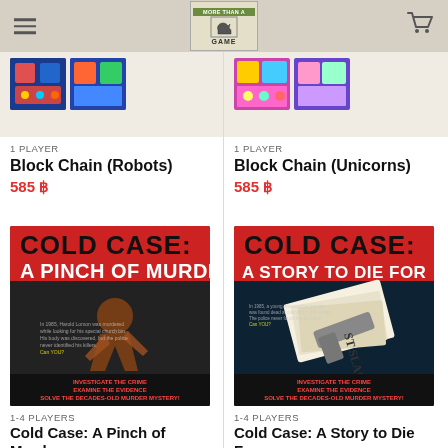[Figure (screenshot): Website header with hamburger menu, More Than a Game logo, and cart icon on beige background]
[Figure (photo): Partial product images for Block Chain (Robots) - colorful robot themed board game]
1 PLAYER
Block Chain (Robots)
585 ฿
[Figure (photo): Partial product images for Block Chain (Unicorns) - colorful unicorn themed board game]
1 PLAYER
Block Chain (Unicorns)
585 ฿
[Figure (photo): Cold Case: A Pinch of Murder board game box cover - dark themed mystery game with running figure silhouette]
1-4 PLAYERS
Cold Case: A Pinch of Murder
600 ฿
[Figure (photo): Cold Case: A Story to Die For board game box cover - dark themed mystery game with newspaper and gun]
1-4 PLAYERS
Cold Case: A Story to Die For
600 ฿